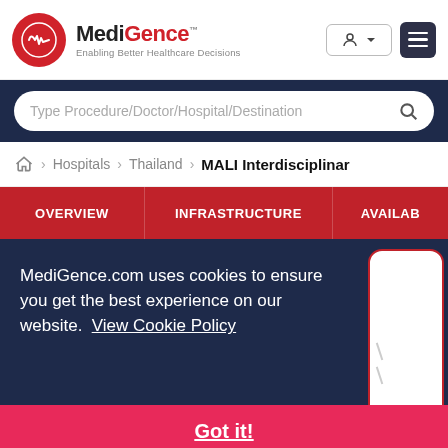[Figure (logo): MediGence logo with red circle containing heart monitor icon, text 'MediGence' and tagline 'Enabling Better Healthcare Decisions']
Type Procedure/Doctor/Hospital/Destination
> Hospitals > Thailand > MALI Interdisciplinar
OVERVIEW   INFRASTRUCTURE   AVAILAB
MediGence.com uses cookies to ensure you get the best experience on our website.  View Cookie Policy
Got it!